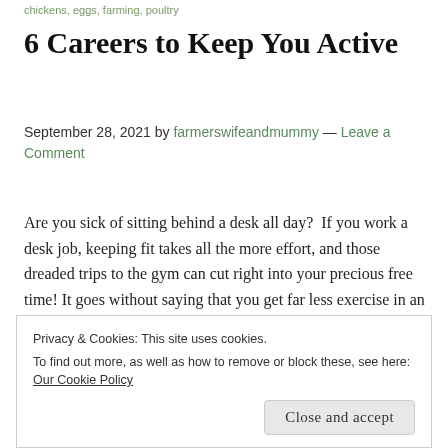chickens, eggs, farming, poultry
6 Careers to Keep You Active
September 28, 2021 by farmerswifeandmummy — Leave a Comment
Are you sick of sitting behind a desk all day?  If you work a desk job, keeping fit takes all the more effort, and those dreaded trips to the gym can cut right into your precious free time! It goes without saying that you get far less exercise in an office than you do working ... [Read more...]
Privacy & Cookies: This site uses cookies.
To find out more, as well as how to remove or block these, see here: Our Cookie Policy
Close and accept